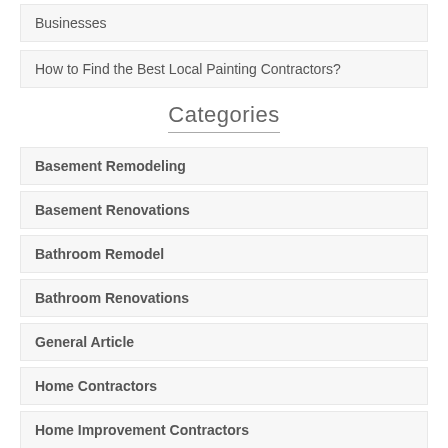Businesses
How to Find the Best Local Painting Contractors?
Categories
Basement Remodeling
Basement Renovations
Bathroom Remodel
Bathroom Renovations
General Article
Home Contractors
Home Improvement Contractors
Home Maintenance